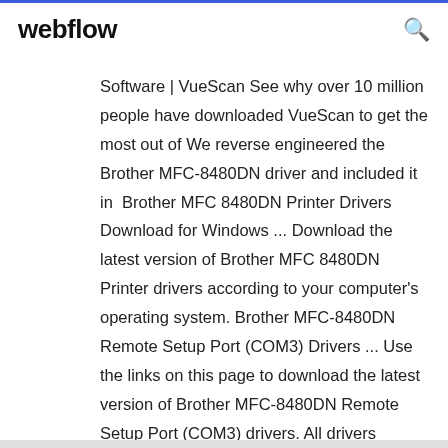webflow
Software | VueScan See why over 10 million people have downloaded VueScan to get the most out of We reverse engineered the Brother MFC-8480DN driver and included it in Brother MFC 8480DN Printer Drivers Download for Windows ... Download the latest version of Brother MFC 8480DN Printer drivers according to your computer's operating system. Brother MFC-8480DN Remote Setup Port (COM3) Drivers ... Use the links on this page to download the latest version of Brother MFC-8480DN Remote Setup Port (COM3) drivers. All drivers available for download have